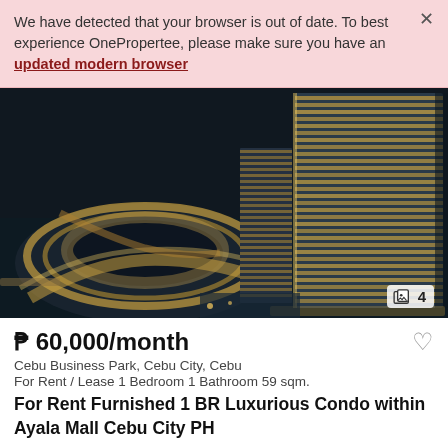We have detected that your browser is out of date. To best experience OnePropertee, please make sure you have an updated modern browser
[Figure (photo): Aerial night-time rendering of a luxury high-rise condominium tower next to a circular arena/coliseum building, Ayala Mall area in Cebu City, Philippines. The tower has horizontal striped balconies lit in warm gold tones.]
₱ 60,000/month
Cebu Business Park, Cebu City, Cebu
For Rent / Lease 1 Bedroom 1 Bathroom 59 sqm.
For Rent Furnished 1 BR Luxurious Condo within Ayala Mall Cebu City PH